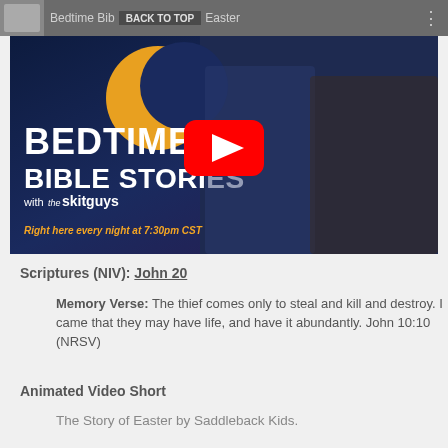Bedtime Bible Stories — BACK TO TOP — Easter
[Figure (screenshot): YouTube video thumbnail for 'Bedtime Bible Stories with The Skit Guys' showing two men smiling, a crescent moon graphic, bold title text, and a red YouTube play button. Tagline: 'Right here every night at 7:30pm CST']
Scriptures (NIV): John 20
Memory Verse: The thief comes only to steal and kill and destroy. I came that they may have life, and have it abundantly. John 10:10 (NRSV)
Animated Video Short
The Story of Easter by Saddleback Kids.